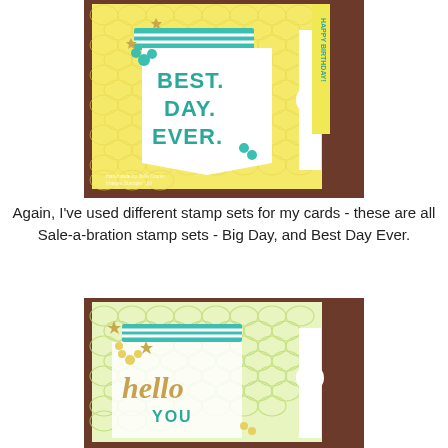[Figure (photo): Handmade birthday card with yellow scallop-patterned background, white panel stamped with 'BEST. DAY. EVER.' in teal ink, teal/white striped ribbon, teal flowers, gold star embellishments, and a vertical 'HAPPY BIRTHDAY' banner on the right side.]
Again, I've used different stamp sets for my cards - these are all Sale-a-bration stamp sets - Big Day, and Best Day Ever.
[Figure (photo): Handmade card with green scallop-patterned background, white panel with 'hello YOU' stamped in teal, yellow flowers, teal/white striped ribbon, gold star embellishments, and a white tab on the right side.]